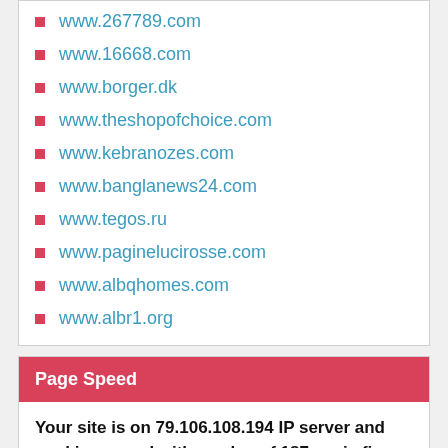www.267789.com
www.16668.com
www.borger.dk
www.theshopofchoice.com
www.kebranozes.com
www.banglanews24.com
www.tegos.ru
www.paginelucirosse.com
www.albqhomes.com
www.albr1.org
Page Speed
Your site is on 79.106.108.194 IP server and working speed with a value of 187 ms is fine. We recommend that you keep this value. If necessary, you can speed up even more by making new studies.
Alexa Global Rank Trend